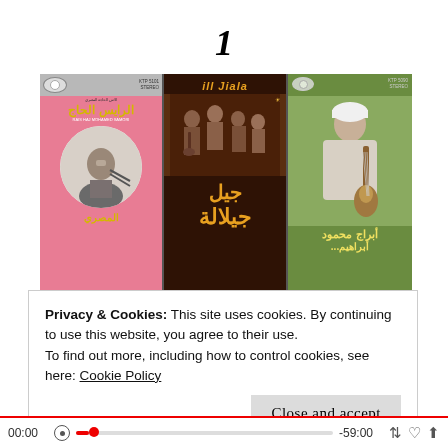1
[Figure (photo): Three Arabic music cassette tape covers side by side on a brown surface. Left: pink cassette labeled 'KTP 5101 STEREO' with Arabic text and 'RAIS HAJ MOHAMED SAMORI'. Center: dark cassette labeled 'ill Jiala' with group photo and large Arabic script. Right: green cassette labeled 'KTP 5090 STEREO' with a man holding a string instrument.]
Privacy & Cookies: This site uses cookies. By continuing to use this website, you agree to their use.
To find out more, including how to control cookies, see here: Cookie Policy
Close and accept